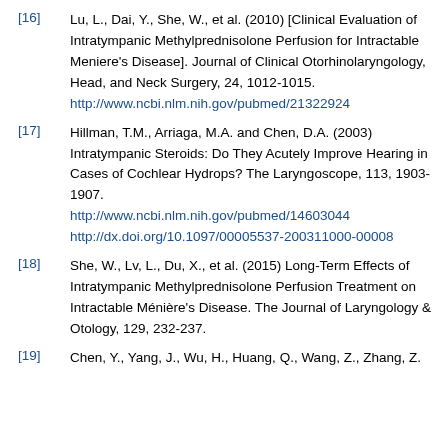[16] Lu, L., Dai, Y., She, W., et al. (2010) [Clinical Evaluation of Intratympanic Methylprednisolone Perfusion for Intractable Meniere's Disease]. Journal of Clinical Otorhinolaryngology, Head, and Neck Surgery, 24, 1012-1015. http://www.ncbi.nlm.nih.gov/pubmed/21322924
[17] Hillman, T.M., Arriaga, M.A. and Chen, D.A. (2003) Intratympanic Steroids: Do They Acutely Improve Hearing in Cases of Cochlear Hydrops? The Laryngoscope, 113, 1903-1907. http://www.ncbi.nlm.nih.gov/pubmed/14603044 http://dx.doi.org/10.1097/00005537-200311000-00008
[18] She, W., Lv, L., Du, X., et al. (2015) Long-Term Effects of Intratympanic Methylprednisolone Perfusion Treatment on Intractable Ménière's Disease. The Journal of Laryngology & Otology, 129, 232-237.
[19] Chen, Y., Yang, J., Wu, H., Huang, Q., Wang, Z., Zhang, Z.